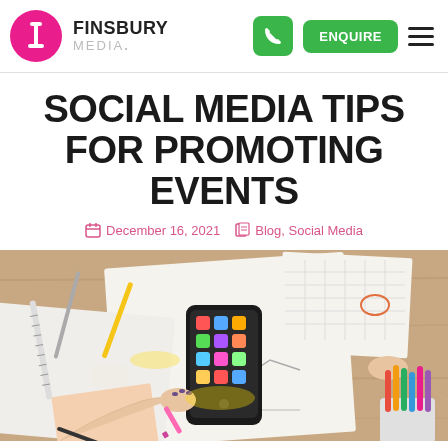Finsbury Media — ENQUIRE
SOCIAL MEDIA TIPS FOR PROMOTING EVENTS
December 16, 2021  Blog, Social Media
[Figure (photo): Overhead view of a person writing with a pink marker on papers with charts and notes, a smartphone with app icons visible, alongside pens, markers, eraser, and ruler on a wooden desk surface.]